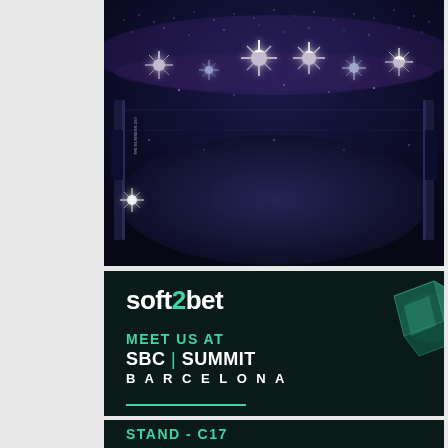[Figure (illustration): Dark MMA/UFC octagon arena scene with sparkling star-burst lights overhead and crowd in background, deep blue/purple tones with glowing spotlights]
[Figure (logo): Soft2Bet advertisement banner on dark background with teal/green 3D crystal cube graphic. Text: 'soft2bet MEET US AT SBC | SUMMIT BARCELONA' with green underline]
[Figure (illustration): Continuation of Soft2Bet banner showing 'STAND - C17' in teal text with partial 3D crystal cube graphic on dark background]